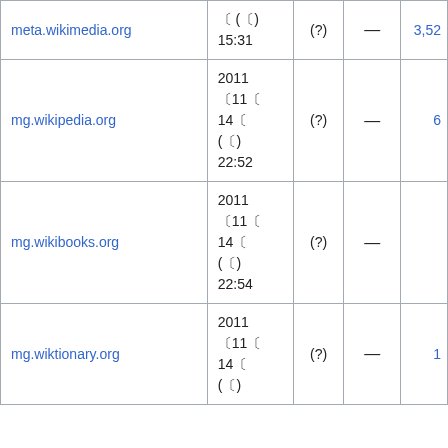| Site | Date | (?) | — | Num |
| --- | --- | --- | --- | --- |
| meta.wikimedia.org | 〔 (〔) 15:31 | (?) | — | 3,52… |
| mg.wikipedia.org | 2011 〔11〔 14〔 (〔) 22:52 | (?) | — | 6… |
| mg.wikibooks.org | 2011 〔11〔 14〔 (〔) 22:54 | (?) | — |  |
| mg.wiktionary.org | 2011 〔11〔 14〔 (〔) | (?) | — | 1… |